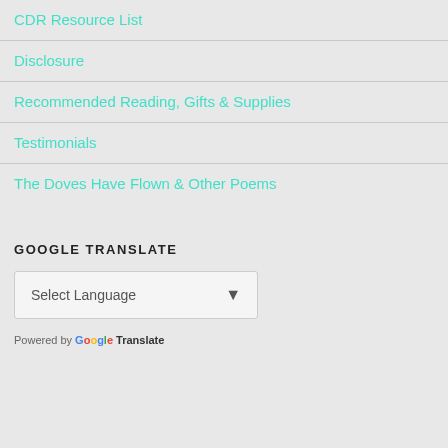CDR Resource List
Disclosure
Recommended Reading, Gifts & Supplies
Testimonials
The Doves Have Flown & Other Poems
GOOGLE TRANSLATE
Select Language
Powered by Google Translate